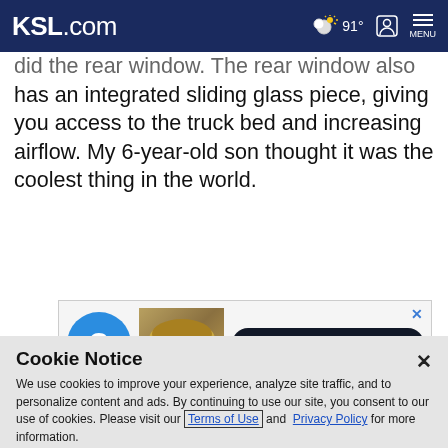KSL.com | 91° | Menu
did the rear window. The rear window also has an integrated sliding glass piece, giving you access to the truck bed and increasing airflow. My 6-year-old son thought it was the coolest thing in the world.
[Figure (advertisement): Ad banner with blue question mark circle, money image, and 'Get real pricing in real-time' call to action button]
Cookie Notice

We use cookies to improve your experience, analyze site traffic, and to personalize content and ads. By continuing to use our site, you consent to our use of cookies. Please visit our Terms of Use and Privacy Policy for more information.

Continue